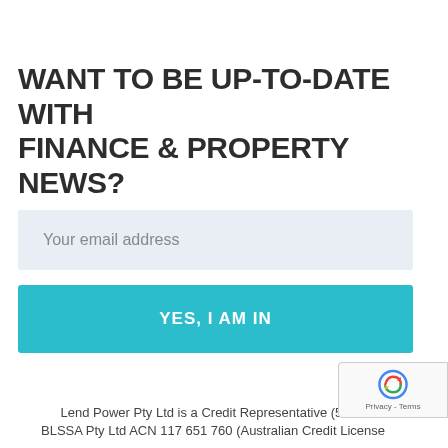WANT TO BE UP-TO-DATE WITH FINANCE & PROPERTY NEWS?
Your email address
YES, I AM IN
Lend Power Pty Ltd is a Credit Representative (500S BLSSA Pty Ltd ACN 117 651 760 (Australian Credit License
[Figure (logo): reCAPTCHA badge with Google branding showing Privacy - Terms]